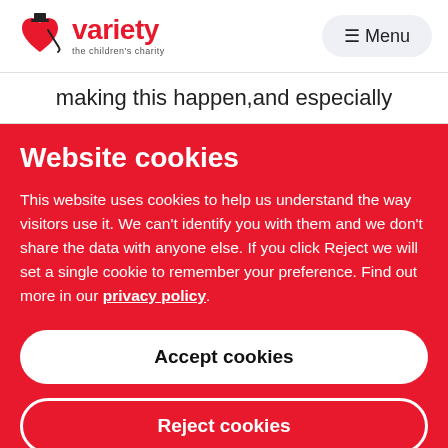[Figure (logo): Variety the children's charity logo — red heart with top hat and cane, with 'variety' in red text and 'the children's charity' below]
≡ Menu
making this happen, and especially
Website cookies
This website uses cookies to help us understand the way visitors use it. We can't identify you with them and we don't share the data with anyone else. If you click Reject we will set a single cookie to remember your preference. Find out more in our privacy policy.
Accept cookies
Reject cookies